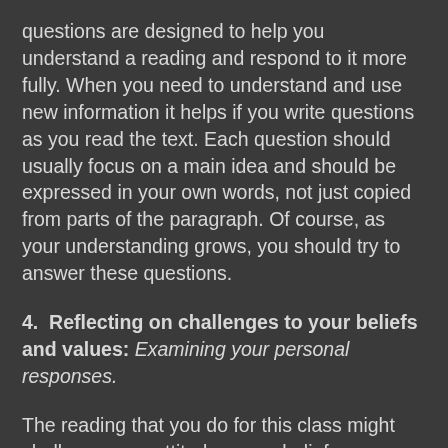questions are designed to help you understand a reading and respond to it more fully. When you need to understand and use new information it helps if you write questions as you read the text. Each question should usually focus on a main idea and should be expressed in your own words, not just copied from parts of the paragraph. Of course, as your understanding grows, you should try to answer these questions.
4. Reflecting on challenges to your beliefs and values: Examining your personal responses.
The reading that you do for this class might challenge your attitudes, your beliefs, or your positions on current issues. As you read a text for the first time, make a brief note in your notebook about what you feel or about what in the text created the challenge. Look over your